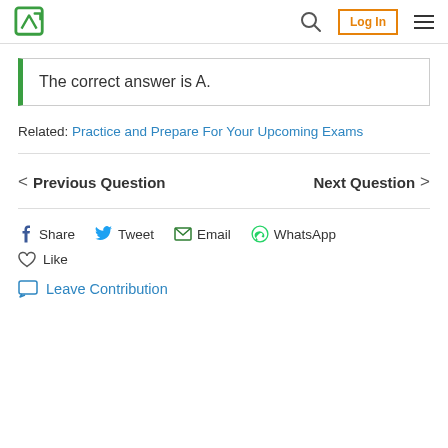Logo | Search | Log In | Menu
The correct answer is A.
Related: Practice and Prepare For Your Upcoming Exams
< Previous Question    Next Question >
Share  Tweet  Email  WhatsApp
Like
Leave Contribution